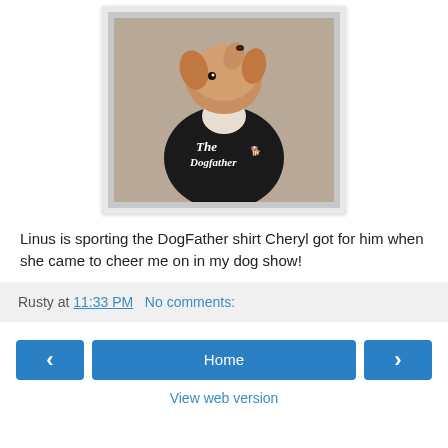[Figure (photo): A small terrier dog wearing a black 'The DogFather' shirt, head tilted upward, photo on beige carpet background]
Linus is sporting the DogFather shirt Cheryl got for him when she came to cheer me on in my dog show!
Rusty at 11:33 PM   No comments:
‹   Home   ›
View web version